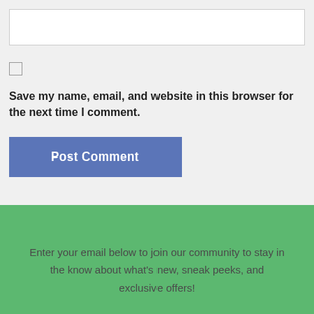[Figure (other): Empty white text input field with light border on grey background]
Save my name, email, and website in this browser for the next time I comment.
[Figure (other): Post Comment button in blue/slate color]
Enter your email below to join our community to stay in the know about what's new, sneak peeks, and exclusive offers!